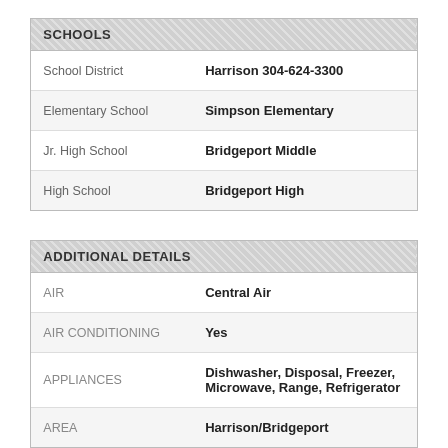|  |  |
| --- | --- |
| SCHOOLS |  |
| School District | Harrison 304-624-3300 |
| Elementary School | Simpson Elementary |
| Jr. High School | Bridgeport Middle |
| High School | Bridgeport High |
|  |  |
| --- | --- |
| ADDITIONAL DETAILS |  |
| AIR | Central Air |
| AIR CONDITIONING | Yes |
| APPLIANCES | Dishwasher, Disposal, Freezer, Microwave, Range, Refrigerator |
| AREA | Harrison/Bridgeport |